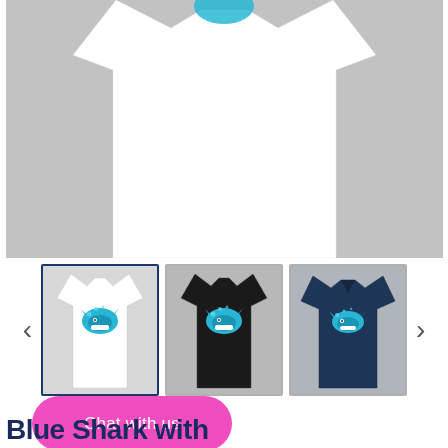[Figure (photo): Close-up of a white t-shirt on a gray background, with a blue circular design/graphic partially visible at the top]
[Figure (photo): Thumbnail carousel showing three t-shirts with blue shark graphic: white (selected), black, and navy]
Chat with us
Blue Shark with